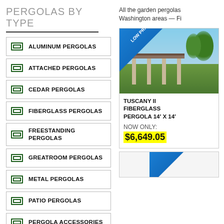PERGOLAS BY TYPE
ALUMINUM PERGOLAS
ATTACHED PERGOLAS
CEDAR PERGOLAS
FIBERGLASS PERGOLAS
FREESTANDING PERGOLAS
GREATROOM PERGOLAS
METAL PERGOLAS
PATIO PERGOLAS
PERGOLA ACCESSORIES
PERGOLA KITS
All the garden pergolas Washington areas — Fi
[Figure (photo): Tuscany II Fiberglass Pergola product photo with LOW PRICE ribbon banner]
TUSCANY II FIBERGLASS PERGOLA 14' X 14'
NOW ONLY: $6,649.05
[Figure (photo): Second product card with LOW PRICE ribbon banner, partially visible]